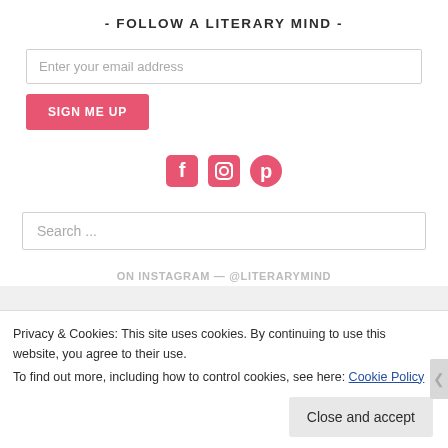- FOLLOW A LITERARY MIND -
Enter your email address
SIGN ME UP
[Figure (illustration): Social media icons: Facebook, Instagram, Pinterest in red/pink color]
Search ...
Privacy & Cookies: This site uses cookies. By continuing to use this website, you agree to their use. To find out more, including how to control cookies, see here: Cookie Policy
Close and accept